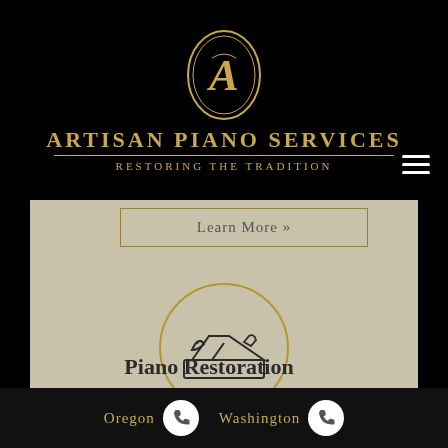[Figure (logo): Artisan Piano Services logo: gold oval with stylized A monogram on black background, with brand name 'ARTISAN PIANO SERVICES' and tagline 'RESTORING THE TRADITION' in gold text]
Learn More »
[Figure (illustration): Circular icon outline in gold showing a wood plane tool (carpentry/restoration tool) — representing piano restoration service]
Piano Restoration
Oregon  Washington